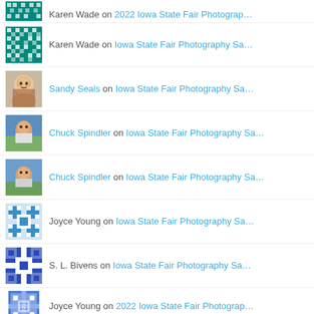Karen Wade on 2022 Iowa State Fair Photograp…
Karen Wade on Iowa State Fair Photography Sa…
Sandy Seals on Iowa State Fair Photography Sa…
Chuck Spindler on Iowa State Fair Photography Sa…
Chuck Spindler on Iowa State Fair Photography Sa…
Joyce Young on Iowa State Fair Photography Sa…
S. L. Bivens on Iowa State Fair Photography Sa…
Joyce Young on 2022 Iowa State Fair Photograp…